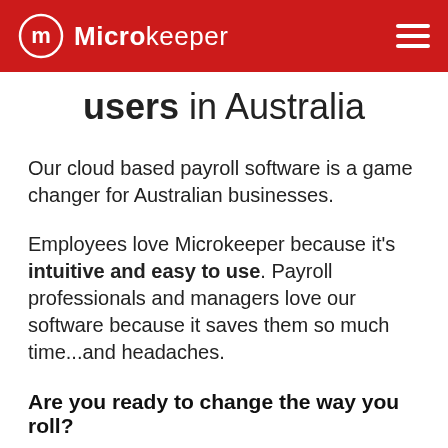Microkeeper
users in Australia
Our cloud based payroll software is a game changer for Australian businesses.
Employees love Microkeeper because it's intuitive and easy to use. Payroll professionals and managers love our software because it saves them so much time...and headaches.
Are you ready to change the way you roll?